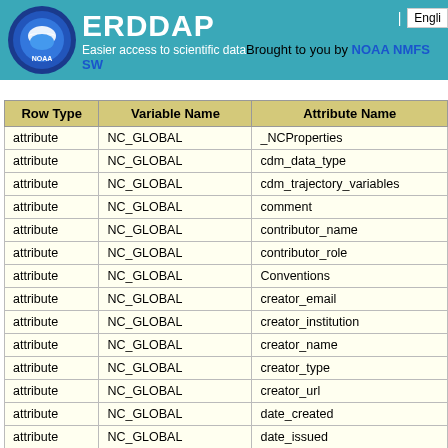ERDDAP | Easier access to scientific data | Brought to you by NOAA NMFS SW | English
| Row Type | Variable Name | Attribute Name |
| --- | --- | --- |
| attribute | NC_GLOBAL | _NCProperties |
| attribute | NC_GLOBAL | cdm_data_type |
| attribute | NC_GLOBAL | cdm_trajectory_variables |
| attribute | NC_GLOBAL | comment |
| attribute | NC_GLOBAL | contributor_name |
| attribute | NC_GLOBAL | contributor_role |
| attribute | NC_GLOBAL | Conventions |
| attribute | NC_GLOBAL | creator_email |
| attribute | NC_GLOBAL | creator_institution |
| attribute | NC_GLOBAL | creator_name |
| attribute | NC_GLOBAL | creator_type |
| attribute | NC_GLOBAL | creator_url |
| attribute | NC_GLOBAL | date_created |
| attribute | NC_GLOBAL | date_issued |
| attribute | NC_GLOBAL | date_modified |